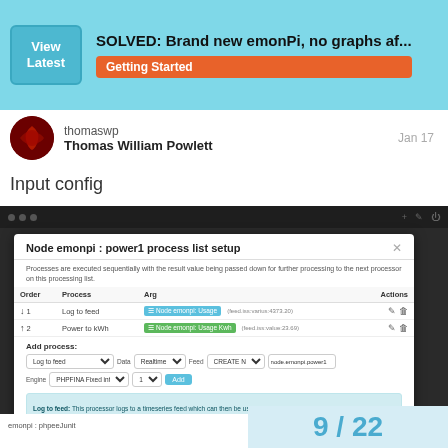SOLVED: Brand new emonPi, no graphs af... | Getting Started
thomaswp
Thomas William Powlett
Jan 17
Input config
[Figure (screenshot): Screenshot of Node emonpi: power1 process list setup dialog. Shows a modal with two process rows: 1) Log to feed - Node emonpi: Usage (feed.iss:varius:4373.20), 2) Power to kWh - Node emonpi: Usage Kwh (feed.iss:value:23.69). Add process section with Log to feed dropdown, Data Realtime, Feed CREATE NEW, node.emonpi.power1. Engine: PHPFINA Fixed int, 10s, Add button. Info box: Log to feed: This processor logs to a timeseries feed which can then be used to explore historic data. Close and Not modified buttons.]
9 / 22